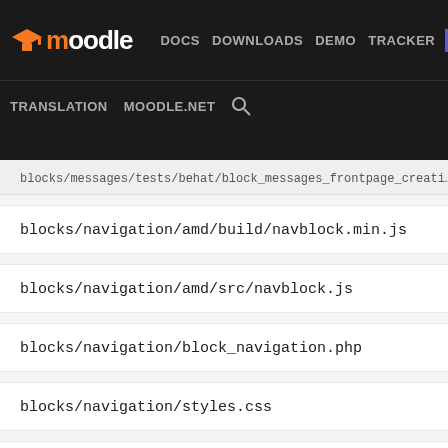Moodle DEV – DOCS DOWNLOADS DEMO TRACKER DEV | TRANSLATION MOODLE.NET
blocks/messages/tests/behat/block_messages_frontpage_creati…
blocks/navigation/amd/build/navblock.min.js
blocks/navigation/amd/src/navblock.js
blocks/navigation/block_navigation.php
blocks/navigation/styles.css
blocks/news_items/block_news_items.php